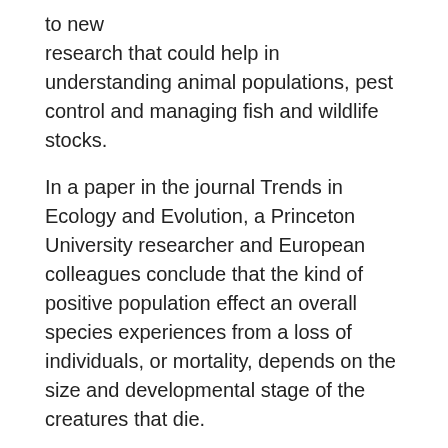to new research that could help in understanding animal populations, pest control and managing fish and wildlife stocks.
In a paper in the journal Trends in Ecology and Evolution, a Princeton University researcher and European colleagues conclude that the kind of positive population effect an overall species experiences from a loss of individuals, or mortality, depends on the size and developmental stage of the creatures that die.
If many juveniles perish, more adults are freed up to reproduce, but if more adults die, the number of juveniles that mature will increase because density dependence is relaxed, explained co-author Anieke van Leeuwen, a postdoctoral researcher in Princeton's Department of Ecology and Evolutionary Biology. Van Leeuwen worked with first author Arne Schröder, a postdoctoral research